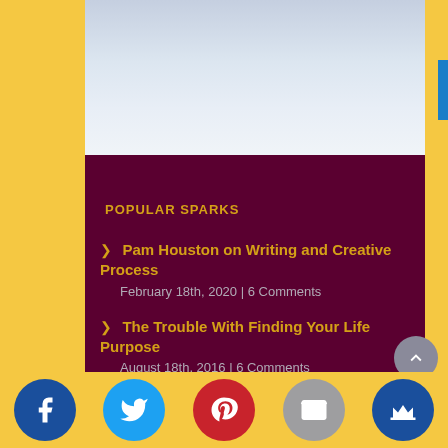[Figure (photo): Sky/clouds background image at top of page]
POPULAR SPARKS
Pam Houston on Writing and Creative Process
February 18th, 2020 | 6 Comments
The Trouble With Finding Your Life Purpose
August 18th, 2016 | 6 Comments
Validate Yourself: Why Every Artist Needs to Learn This
November 29th, 2018 | 5 Comments
Social share buttons: Facebook, Twitter, Pinterest, Email, Crown